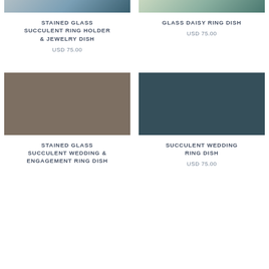[Figure (photo): Top portion of stained glass succulent ring holder product photo]
STAINED GLASS SUCCULENT RING HOLDER & JEWELRY DISH
USD 75.00
[Figure (photo): Top portion of glass daisy ring dish product photo]
GLASS DAISY RING DISH
USD 75.00
[Figure (photo): Stained glass succulent wedding & engagement ring dish product image (taupe/brown color block)]
STAINED GLASS SUCCULENT WEDDING & ENGAGEMENT RING DISH
[Figure (photo): Succulent wedding ring dish product image (dark teal color block)]
SUCCULENT WEDDING RING DISH
USD 75.00